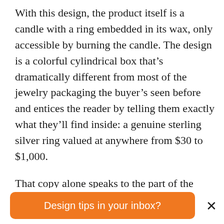With this design, the product itself is a candle with a ring embedded in its wax, only accessible by burning the candle. The design is a colorful cylindrical box that’s dramatically different from most of the jewelry packaging the buyer’s seen before and entices the reader by telling them exactly what they’ll find inside: a genuine sterling silver ring valued at anywhere from $30 to $1,000.
That copy alone speaks to the part of the buyer’s brain that just can’t resist the urge to “get in it to win it” so to speak, and it
[Figure (other): Orange rounded-rectangle call-to-action button with white text reading 'Design tips in your inbox?' and a close (X) button to the right]